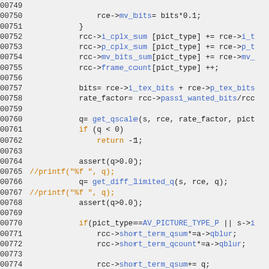[Figure (screenshot): Source code listing showing C code lines 00749-00778 with syntax highlighting. Line numbers in dark, blue-highlighted identifiers for struct members, orange for keywords like 'if', 'return', and commented-out printf statements.]